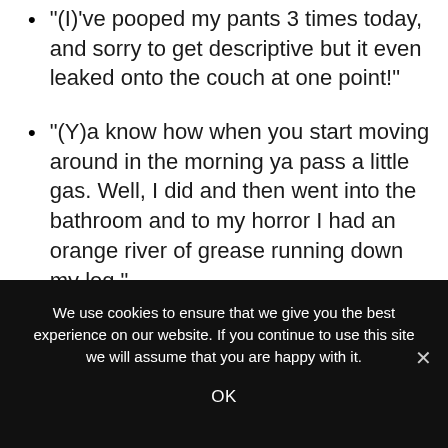"(I)'ve pooped my pants 3 times today, and sorry to get descriptive but it even leaked onto the couch at one point!"
"(Y)a know how when you start moving around in the morning ya pass a little gas. Well, I did and then went into the bathroom and to my horror I had an orange river of grease running down my leg."
"I'm thinking that infant diapers might be a cheaper way to go, just use them as a large pad."
We use cookies to ensure that we give you the best experience on our website. If you continue to use this site we will assume that you are happy with it.
OK